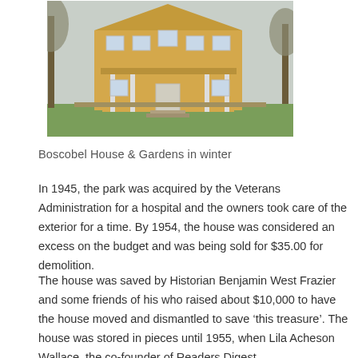[Figure (photo): A yellow Victorian-style two-story house with white trim and wraparound porch, surrounded by bare trees and a green lawn, photographed in winter.]
Boscobel House & Gardens in winter
In 1945, the park was acquired by the Veterans Administration for a hospital and the owners took care of the exterior for a time. By 1954, the house was considered an excess on the budget and was being sold for $35.00 for demolition.
The house was saved by Historian Benjamin West Frazier and some friends of his who raised about $10,000 to have the house moved and dismantled to save ‘this treasure’. The house was stored in pieces until 1955, when Lila Acheson Wallace, the co-founder of Readers Digest